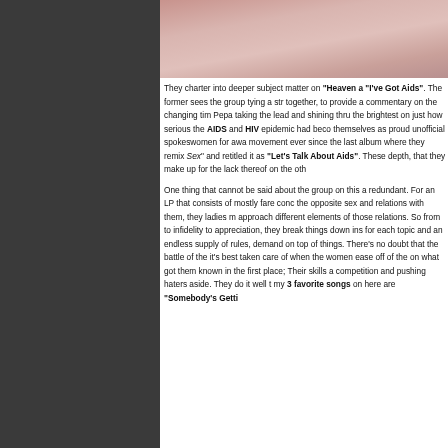[Figure (photo): Cropped photo of a person's torso, pink/skin tones, partially visible]
They charter into deeper subject matter on "Heaven a" "I've Got Aids". The former sees the group tying a str together, to provide a commentary on the changing tim Pepa taking the lead and shining thru the brightest on just how serious the AIDS and HIV epidemic had beco themselves as proud unofficial spokeswomen for awa movement ever since the last album where they remix Sex" and retitled it as "Let's Talk About Aids". These depth, that they make up for the lack thereof on the oth

One thing that cannot be said about the group on this a redundant. For an LP that consists of mostly fare conc the opposite sex and relations with them, they ladies m approach different elements of those relations. So from to infidelity to appreciation, they break things down ins for each topic and an endless supply of rules, demand on top of things. There's no doubt that the battle of the it's best taken care of when the women ease off of the on what got them known in the first place; Their skills a competition and pushing haters aside. They do it well t my 3 favorite songs on here are "Somebody's Getti